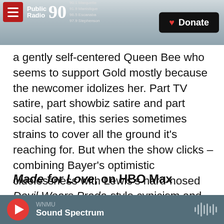Public Radio 90 | 90.1 Marquette, 91.9 Manistique, 96.5 Escanaba, 97.9 Stephenson | Donate
a gently self-centered Queen Bee who seems to support Gold mostly because the newcomer idolizes her. Part TV satire, part showbiz satire and part social satire, this series sometimes strains to cover all the ground it's reaching for. But when the show clicks – combining Bayer's optimistic cluelessness with Lewis's hard-nosed Devil Wears Prada-style cynicism and Shannon's blithe entitlement – it offers truly entertaining viewing.
Made for Love, on HBO Max
[Figure (photo): Dark blurred photo/screenshot visible at bottom of page]
WNMU | Sound Spectrum